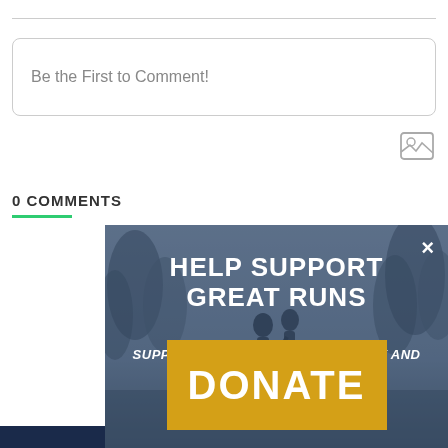Be the First to Comment!
0 COMMENTS
[Figure (screenshot): Modal overlay popup with dark blue-tinted background showing two silhouetted runners in a foggy forest. Contains heading 'HELP SUPPORT GREAT RUNS', subtext 'SUPPORT THE RUNNING COMMUNITY AND KEEP US AD- AND SUBSCRIPTION-FREE', a gold/yellow DONATE button, and a close (×) button in the top right.]